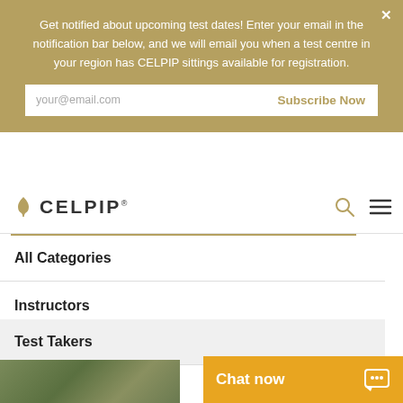Get notified about upcoming test dates! Enter your email in the notification bar below, and we will email you when a test centre in your region has CELPIP sittings available for registration.
your@email.com
Subscribe Now
[Figure (logo): CELPIP logo with gold maple leaf icon and bold text CELPIP]
All Categories
Instructors
Test Takers
Chat now